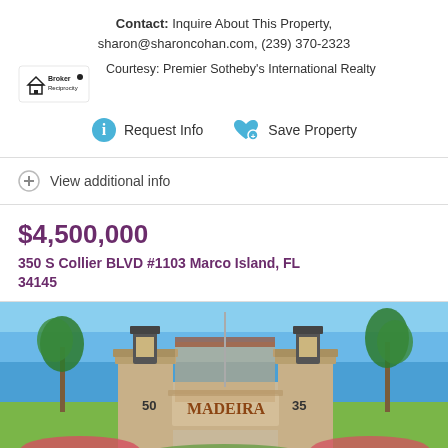Contact: Inquire About This Property, sharon@sharoncohan.com, (239) 370-2323
Courtesy: Premier Sotheby's International Realty
Request Info   Save Property
View additional info
$4,500,000
350 S Collier BLVD #1103 Marco Island, FL 34145
[Figure (photo): Entrance gate of Madeira Marco Island condominium complex with ornate stone pillars, lantern fixtures, palm trees and landscaping]